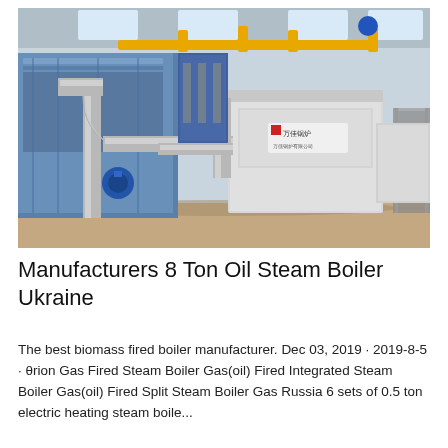[Figure (photo): Industrial steam boiler installation in a factory setting. Large blue and silver boiler units with insulated pipes, yellow gas pipes overhead, blue valve fittings, Chinese manufacturer logo on front panel, metal staircase on right side, factory interior with skylights.]
Manufacturers 8 Ton Oil Steam Boiler Ukraine
The best biomass fired boiler manufacturer. Dec 03, 2019 · 2019-8-5 · θrion Gas Fired Steam Boiler Gas(oil) Fired Integrated Steam Boiler Gas(oil) Fired Split Steam Boiler Gas Russia 6 sets of 0.5 ton electric heating steam boile...